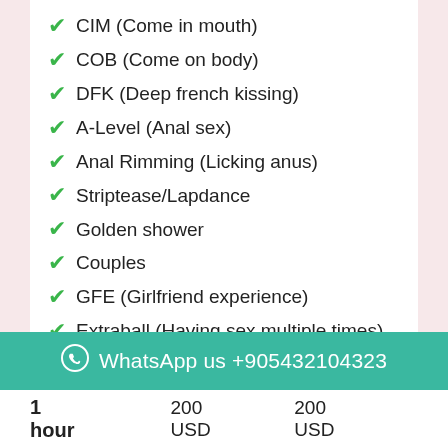CIM (Come in mouth)
COB (Come on body)
DFK (Deep french kissing)
A-Level (Anal sex)
Anal Rimming (Licking anus)
Striptease/Lapdance
Golden shower
Couples
GFE (Girlfriend experience)
Extraball (Having sex multiple times)
WhatsApp us +905432104323
1 hour   200 USD   200 USD